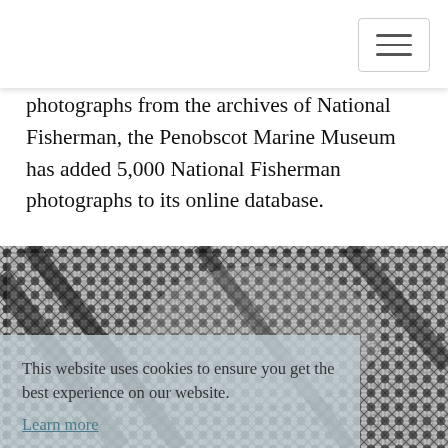photographs from the archives of National Fisherman, the Penobscot Marine Museum has added 5,000 National Fisherman photographs to its online database.
[Figure (photo): Black and white close-up photograph of fishing nets with a mesh pattern, overlaid with a semi-transparent cookie consent banner]
This website uses cookies to ensure you get the best experience on our website. Learn more Got it!